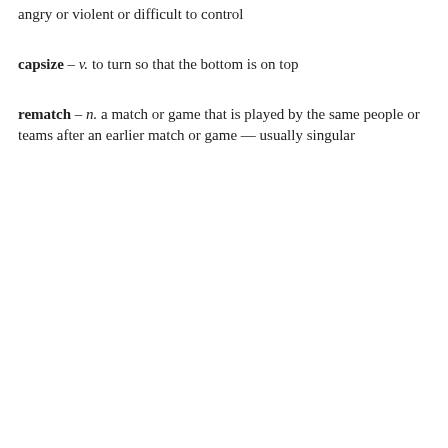angry or violent or difficult to control
capsize – v. to turn so that the bottom is on top
rematch – n. a match or game that is played by the same people or teams after an earlier match or game — usually singular